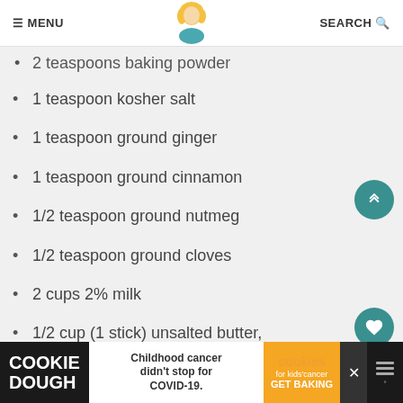≡ MENU | [logo] | SEARCH 🔍
2 teaspoons baking powder (truncated)
1 teaspoon kosher salt
1 teaspoon ground ginger
1 teaspoon ground cinnamon
1/2 teaspoon ground nutmeg
1/2 teaspoon ground cloves
2 cups 2% milk
1/2 cup (1 stick) unsalted butter, melted
3 large Eggland's Best eggs
[Figure (infographic): Advertisement banner: COOKIE DOUGH | Childhood cancer didn't stop for COVID-19. | cookies for kids' cancer GET BAKING]